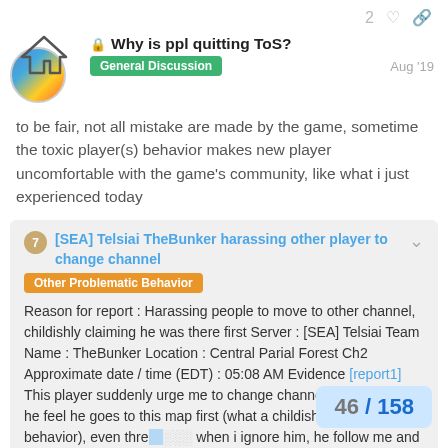2 ♡ 🔗
🔒 Why is ppl quitting ToS?
General Discussion   Aug '19
to be fair, not all mistake are made by the game, sometime the toxic player(s) behavior makes new player uncomfortable with the game's community, like what i just experienced today
7 [SEA] Telsiai TheBunker harassing other player to change channel  Other Problematic Behavior
Reason for report : Harassing people to move to other channel, childishly claiming he was there first Server : [SEA] Telsiai Team Name : TheBunker Location : Central Parial Forest Ch2 Approximate date / time (EDT) : 05:08 AM Evidence [report1] This player suddenly urge me to change channel, just because he feel he goes to this map first (what a childish and toxic behavior), even thre... when i ignore him, he follow me and kill... in front of me.
46 / 158